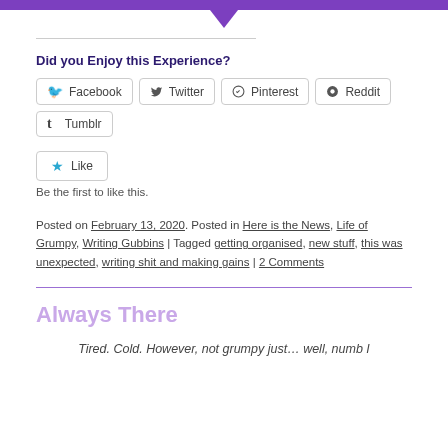Did you Enjoy this Experience?
[Figure (other): Social sharing buttons: Facebook, Twitter, Pinterest, Reddit, Tumblr]
[Figure (other): Like button with star icon]
Be the first to like this.
Posted on February 13, 2020. Posted in Here is the News, Life of Grumpy, Writing Gubbins | Tagged getting organised, new stuff, this was unexpected, writing shit and making gains | 2 Comments
Always There
Tired. Cold. However, not grumpy just… well, numb I